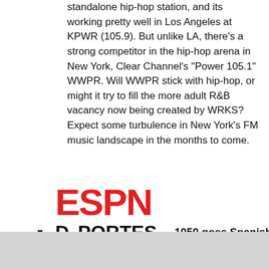standalone hip-hop station, and its working pretty well in Los Angeles at KPWR (105.9). But unlike LA, there's a strong competitor in the hip-hop arena in New York, Clear Channel's “Power 105.1” WWPR. Will WWPR stick with hip-hop, or might it try to fill the more adult R&B vacancy now being created by WRKS? Expect some turbulence in New York's FM music landscape in the months to come.
1050 goes Spanish.
[Figure (logo): ESPN Deportes New York (1050 AM) logo — ESPN in red bold letters, DEPORTES in bold black, NEW YORK in large bold black, (1050 AM) in large bold black with radio wave symbols]